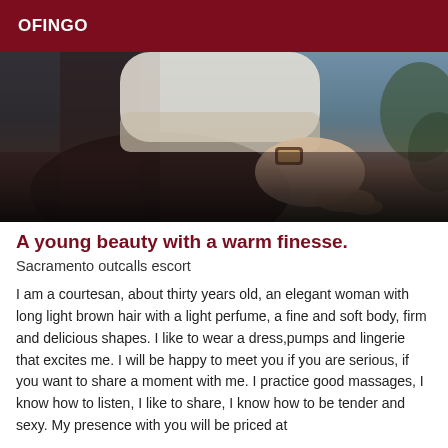OFINGO
[Figure (photo): Photo showing a person's arm and hand extended, wearing a white long-sleeve top and a watch, set against a background of dark clothing/bag on the left and jeans/greenery on the right.]
A young beauty with a warm finesse.
Sacramento outcalls escort
I am a courtesan, about thirty years old, an elegant woman with long light brown hair with a light perfume, a fine and soft body, firm and delicious shapes. I like to wear a dress,pumps and lingerie that excites me. I will be happy to meet you if you are serious, if you want to share a moment with me. I practice good massages, I know how to listen, I like to share, I know how to be tender and sexy. My presence with you will be priced at